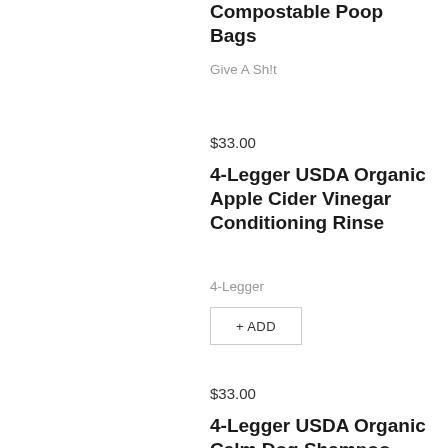Compostable Poop Bags
Give A Sh!t
$33.00
4-Legger USDA Organic Apple Cider Vinegar Conditioning Rinse
4-Legger
+ ADD
$33.00
4-Legger USDA Organic Calm Dog Shampoo